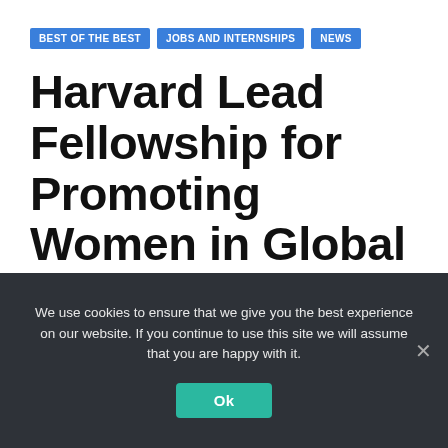BEST OF THE BEST | JOBS AND INTERNSHIPS | NEWS
Harvard Lead Fellowship for Promoting Women in Global Health
APR 9, 2022
We use cookies to ensure that we give you the best experience on our website. If you continue to use this site we will assume that you are happy with it.